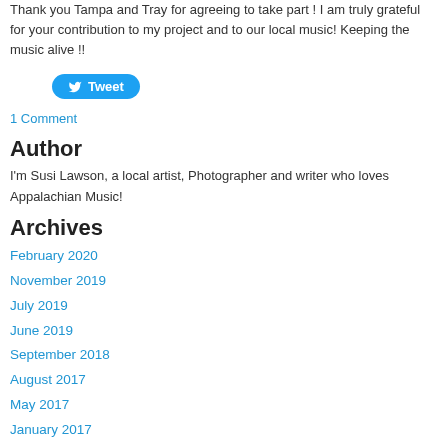Thank you Tampa and Tray for agreeing to take part ! I am truly grateful for your contribution to my project and to our local music! Keeping the music alive !!
[Figure (other): Twitter Tweet button (blue rounded button with bird icon and 'Tweet' text)]
1 Comment
Author
I'm Susi Lawson, a local artist, Photographer and writer who loves Appalachian Music!
Archives
February 2020
November 2019
July 2019
June 2019
September 2018
August 2017
May 2017
January 2017
September 2016